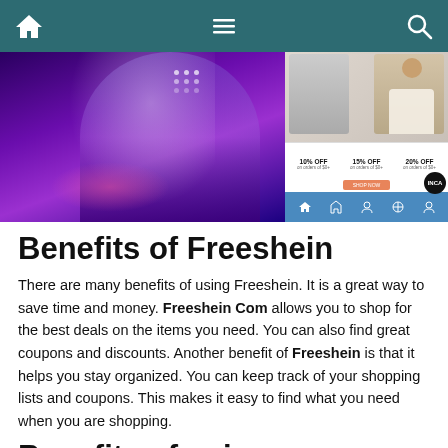Navigation bar with home, menu, and search icons
[Figure (screenshot): Two side-by-side screenshot images: left shows a person in purple/blue lighting; right shows a clothing discount offer (10% OFF, 15% OFF, 20% OFF) and a fashion app interface]
Benefits of Freeshein
There are many benefits of using Freeshein. It is a great way to save time and money. Freeshein Com allows you to shop for the best deals on the items you need. You can also find great coupons and discounts. Another benefit of Freeshein is that it helps you stay organized. You can keep track of your shopping lists and coupons. This makes it easy to find what you need when you are shopping.
Benefits of using Freeshein com: